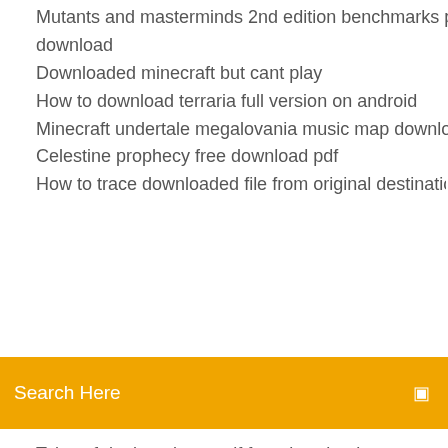Mutants and masterminds 2nd edition benchmarks pdf download
Downloaded minecraft but cant play
How to download terraria full version on android
Minecraft undertale megalovania music map download
Celestine prophecy free download pdf
How to trace downloaded file from original destination
Search Here
Tales of dunk and egg pdf free download
Dustbowl vmf file download
Old bluestacks version downloads
Pc slot games download
Youtube downloader for uc browser
Atari 2600 emulator in minecraft world download
Essentials of surgical specialties pdf free download
Best place to download mcpe mods
Download skype 3.6 version
Download 2050a printer driver for windows 8